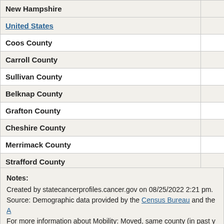| Location |  |
| --- | --- |
| New Hampshire |  |
| United States |  |
| Coos County |  |
| Carroll County |  |
| Sullivan County |  |
| Belknap County |  |
| Grafton County |  |
| Cheshire County |  |
| Merrimack County |  |
| Strafford County |  |
| Rockingham County |  |
| Hillsborough County |  |
Notes:
Created by statecancerprofiles.cancer.gov on 08/25/2022 2:21 pm.
Source: Demographic data provided by the Census Bureau and the A
For more information about Mobility: Moved, same county (in past y
Health Service Areas are a single county or cluster of contiguous co